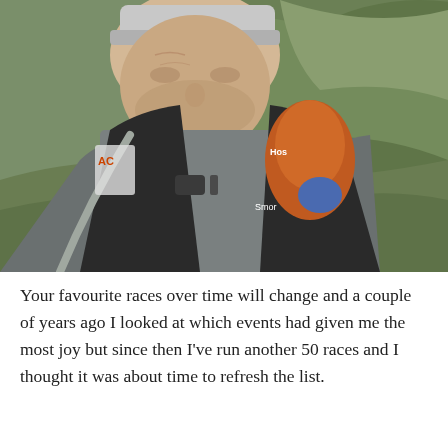[Figure (photo): A man wearing a grey athletic shirt and black running vest/pack with orange accents and a hydration tube, taking a selfie outdoors on a green hillside. He is wearing a hat and looking slightly downward.]
Your favourite races over time will change and a couple of years ago I looked at which events had given me the most joy but since then I've run another 50 races and I thought it was about time to refresh the list.